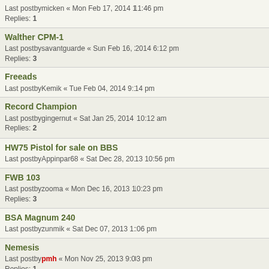Last postbymicken « Mon Feb 17, 2014 11:46 pm
Replies: 1
Walther CPM-1
Last postbysavantguarde « Sun Feb 16, 2014 6:12 pm
Replies: 3
Freeads
Last postbyKemik « Tue Feb 04, 2014 9:14 pm
Record Champion
Last postbygingernut « Sat Jan 25, 2014 10:12 am
Replies: 2
HW75 Pistol for sale on BBS
Last postbyAppinpar68 « Sat Dec 28, 2013 10:56 pm
FWB 103
Last postbyzooma « Mon Dec 16, 2013 10:23 pm
Replies: 3
BSA Magnum 240
Last postbyzunmik « Sat Dec 07, 2013 1:06 pm
Nemesis
Last postbypmh « Mon Nov 25, 2013 9:03 pm
Replies: 1
Original 75
Last postbyzunmik « Fri Nov 15, 2013 9:16 pm
TAU 7
Last postbymicken « Mon Nov 11, 2013 10:50 pm
Replies: 1
Original 6M pistol